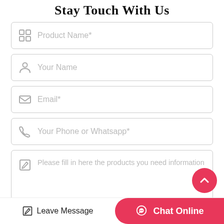Stay Touch With Us
Product Name*
Your Name
Email*
Your Phone or Whatsapp*
Please fill in here the products you need information
Leave Message
Chat Online